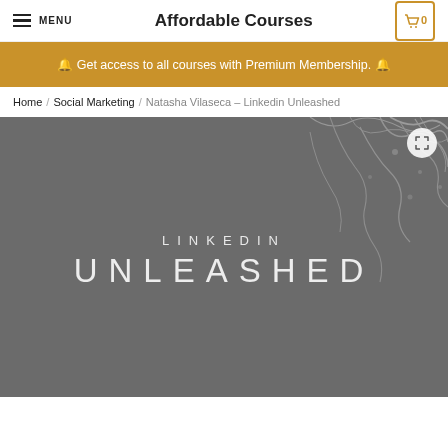☰ MENU   Affordable Courses   🛍 0
🔔 Get access to all courses with Premium Membership. 🔔
Home / Social Marketing / Natasha Vilaseca – Linkedin Unleashed
[Figure (photo): Course cover image for LinkedIn Unleashed by Natasha Vilaseca. Dark grey background with neural/organic white wispy shapes, text reads LINKEDIN UNLEASHED in spaced white letters. An expand/fullscreen button is in top-right corner.]